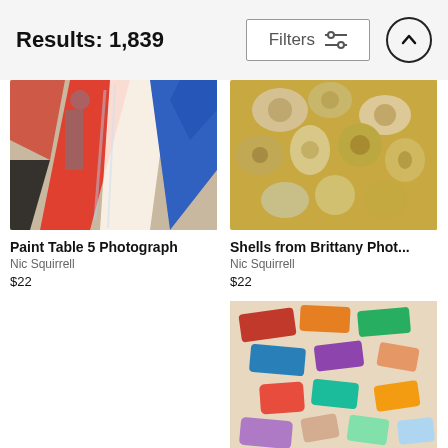Results: 1,839
Filters
[Figure (photo): Close-up photo of colorful abstract painting with red, white, blue strokes and textures — Paint Table 5 Photograph]
Paint Table 5 Photograph
Nic Squirrell
$22
[Figure (photo): Close-up photo of many mixed seashells in golden, brown and cream tones — Shells from Brittany Photograph]
Shells from Brittany Phot...
Nic Squirrell
$22
[Figure (photo): Close-up photo of colorful chalk pieces in red, blue, orange, green, purple and other colors scattered together]